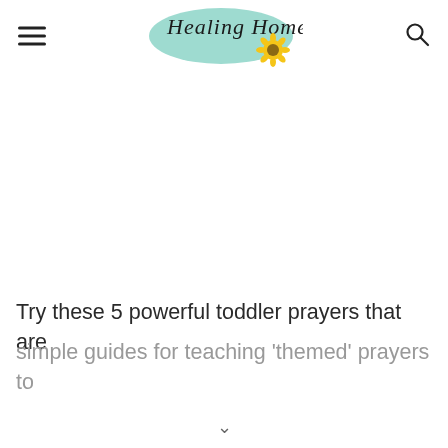Healing Home
[Figure (logo): Healing Home blog logo with teal watercolor background and sunflower, script text reading 'Healing Home']
Try these 5 powerful toddler prayers that are simple guides for teaching 'themed' prayers to